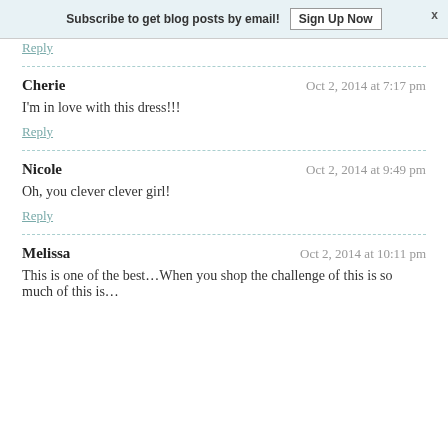Subscribe to get blog posts by email! Sign Up Now  x
Reply
Cherie   Oct 2, 2014 at 7:17 pm
I'm in love with this dress!!!
Reply
Nicole   Oct 2, 2014 at 9:49 pm
Oh, you clever clever girl!
Reply
Melissa   Oct 2, 2014 at 10:11 pm
This is one of the best…When you shop the challenge of this is so much of this is…